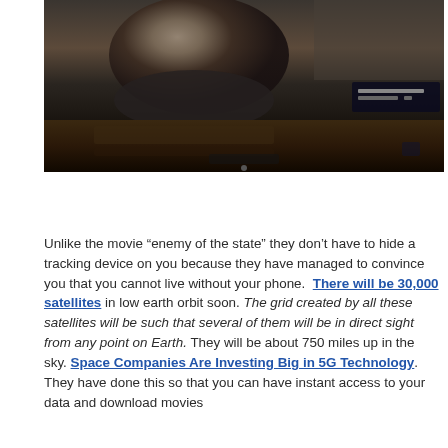[Figure (photo): A dark-toned video screenshot showing a person (partially visible) in what appears to be a car interior, with video player controls visible in the lower right corner. The lower portion shows a wooden dashboard/console area.]
Unlike the movie “enemy of the state” they don’t have to hide a tracking device on you because they have managed to convince you that you cannot live without your phone.  There will be 30,000 satellites in low earth orbit soon. The grid created by all these satellites will be such that several of them will be in direct sight from any point on Earth. They will be about 750 miles up in the sky. Space Companies Are Investing Big in 5G Technology. They have done this so that you can have instant access to your data and download movies